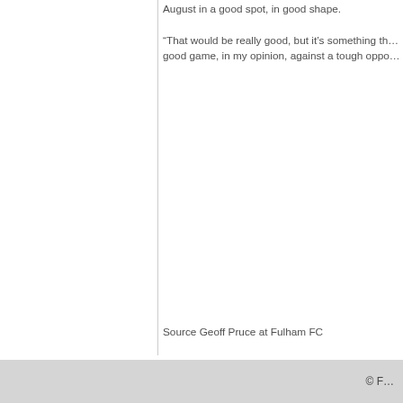August in a good spot, in good shape.
“That would be really good, but it’s something th… good game, in my opinion, against a tough oppo…
Source Geoff Pruce at Fulham FC
© F…